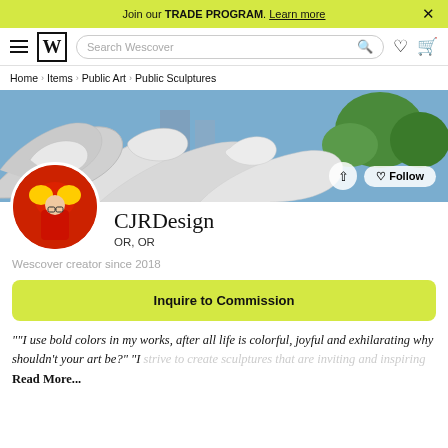Join our TRADE PROGRAM. Learn more
[Figure (screenshot): Wescover website navigation bar with hamburger menu, W logo, search bar, heart icon, and cart icon]
Home › Items › Public Art › Public Sculptures
[Figure (photo): Hero banner photo showing large white swirling metal public sculpture with trees in background]
[Figure (photo): Circular profile photo of artist wearing red shirt and glasses, seated at a desk with Red Bull can visible]
CJRDesign
OR, OR
Wescover creator since 2018
Inquire to Commission
""I use bold colors in my works, after all life is colorful, joyful and exhilarating why shouldn't your art be?" "I strive to create sculptures that are inviting and inspiring
Read More...